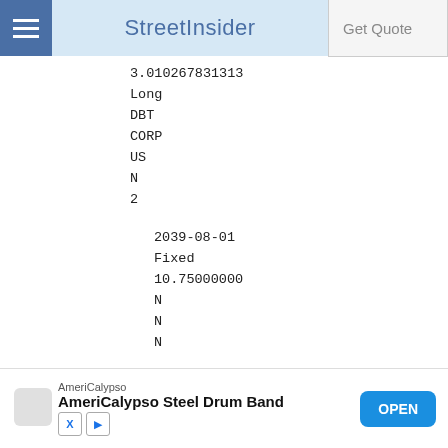StreetInsider
3.010267831313
Long
DBT
CORP
US
N
2
2039-08-01
Fixed
10.75000000
N
N
N
N
N
N